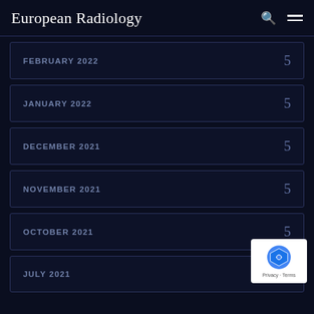European Radiology
FEBRUARY 2022  5
JANUARY 2022  5
DECEMBER 2021  5
NOVEMBER 2021  5
OCTOBER 2021  5
JULY 2021